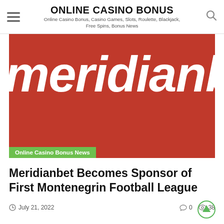ONLINE CASINO BONUS
Online Casino Bonus, Casino Games, Slots, Roulette, Blackjack, Free Spins, Bonus News
[Figure (logo): Meridianbet logo on red background — white italic bold text reading 'meridianbe' (cropped), with a green 'Online Casino Bonus News' category badge at bottom left]
Meridianbet Becomes Sponsor of First Montenegrin Football League
July 21, 2022  0  38